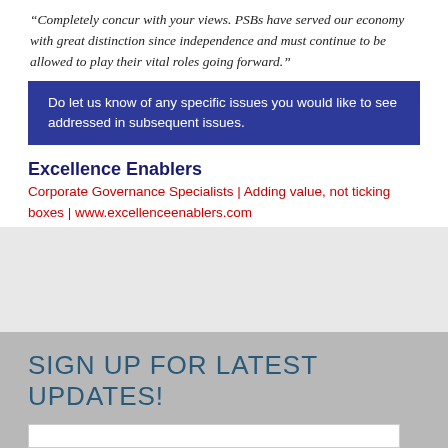“Completely concur with your views. PSBs have served our economy with great distinction since independence and must continue to be allowed to play their vital roles going forward.”
Do let us know of any specific issues you would like to see addressed in subsequent issues.
Excellence Enablers
Corporate Governance Specialists | Adding value, not ticking boxes | www.excellenceenablers.com
SIGN UP FOR LATEST UPDATES!